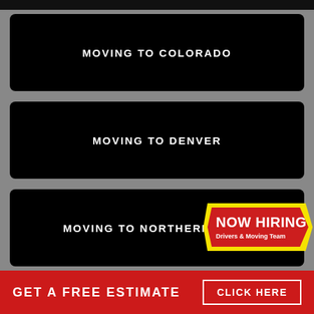MOVING TO COLORADO
MOVING TO DENVER
MOVING TO NORTHERN COLORADO
[Figure (infographic): NOW HIRING badge with yellow border and red background, text: NOW HIRING / Drivers & Moving Team]
GET A FREE ESTIMATE   CLICK HERE